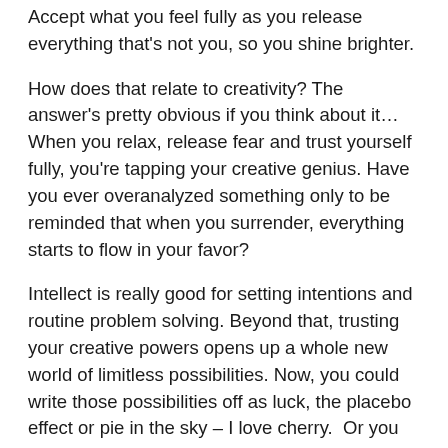Accept what you feel fully as you release everything that's not you, so you shine brighter.
How does that relate to creativity? The answer's pretty obvious if you think about it…When you relax, release fear and trust yourself fully, you're tapping your creative genius. Have you ever overanalyzed something only to be reminded that when you surrender, everything starts to flow in your favor?
Intellect is really good for setting intentions and routine problem solving. Beyond that, trusting your creative powers opens up a whole new world of limitless possibilities. Now, you could write those possibilities off as luck, the placebo effect or pie in the sky – I love cherry.  Or you could do the smart thing and ask: How can I allow this to work for me?
In all industries, knowing and using your creative powers often creates fields and disciplines that…